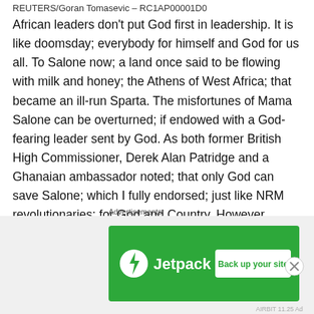REUTERS/Goran Tomasevic – RC1AP00001D0
African leaders don't put God first in leadership. It is like doomsday; everybody for himself and God for us all. To Salone now; a land once said to be flowing with milk and honey; the Athens of West Africa; that became an ill-run Sparta. The misfortunes of Mama Salone can be overturned; if endowed with a God-fearing leader sent by God. As both former British High Commissioner, Derek Alan Patridge and a Ghanaian ambassador noted; that only God can save Salone; which I fully endorsed; just like NRM revolutionaries; for God and Country. However, Salone is ruled by the dictates of Satanism; as politicians dabble in all sorts of occultic rituals; which APC dubbed;
Advertisements
[Figure (other): Jetpack advertisement banner with green background showing Jetpack logo and 'Back up your site' button]